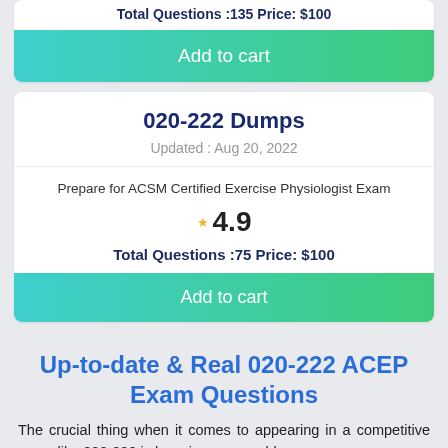Total Questions :135  Price: $100
Add to cart
020-222 Dumps
Updated : Aug 20, 2022
Prepare for ACSM Certified Exercise Physiologist Exam
4.9
Total Questions :75  Price: $100
Add to cart
Up-to-date & Real 020-222 ACEP Exam Questions
The crucial thing when it comes to appearing in a competitive exam like 020-222 is knowing your problem-